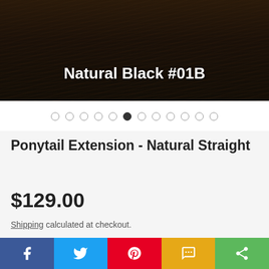[Figure (photo): Close-up of dark natural black hair texture with text overlay reading 'Natural Black #01B']
● ● ● ● ● ● ● ● ● ● ● ● (carousel dots, 6th dot active)
Ponytail Extension - Natural Straight
$129.00
Shipping calculated at checkout.
[Figure (infographic): Social sharing bar with Facebook, Twitter, Pinterest, SMS, and Share buttons]